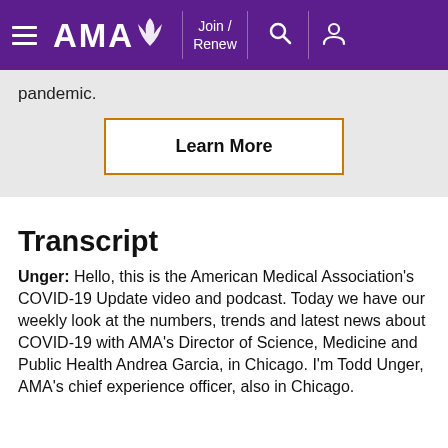AMA — Join / Renew
pandemic.
Learn More
Transcript
Unger: Hello, this is the American Medical Association's COVID-19 Update video and podcast. Today we have our weekly look at the numbers, trends and latest news about COVID-19 with AMA's Director of Science, Medicine and Public Health Andrea Garcia, in Chicago. I'm Todd Unger, AMA's chief experience officer, also in Chicago.